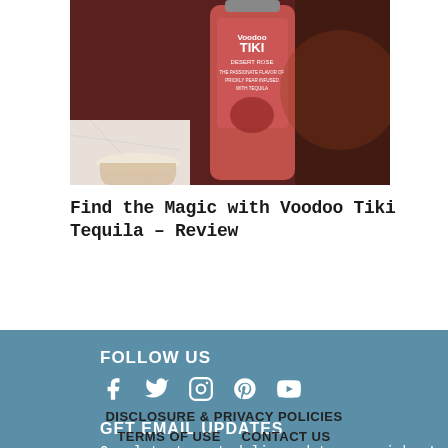[Figure (photo): Photo of a Voodoo Tiki Desert Rose tequila bottle next to a drink with a salted rim, on a marble surface]
Find the Magic with Voodoo Tiki Tequila – Review
FOLLOW US
[Figure (illustration): Social media icons: Facebook, Twitter, Instagram, Pinterest, YouTube]
GET EMAIL UPDATES
Our latest post delivered to your inbox!
your@email.com  SUBSCRIBE
DISCLOSURE & PRIVACY POLICIES   TERMS OF USE   CONTACT US